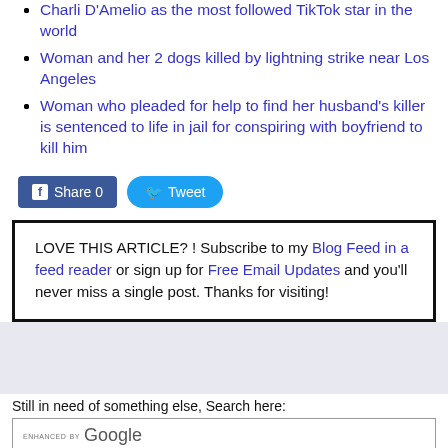Charli D'Amelio as the most followed TikTok star in the world
Woman and her 2 dogs killed by lightning strike near Los Angeles
Woman who pleaded for help to find her husband's killer is sentenced to life in jail for conspiring with boyfriend to kill him
Share 0  Tweet
LOVE THIS ARTICLE? ! Subscribe to my Blog Feed in a feed reader or sign up for Free Email Updates and you'll never miss a single post. Thanks for visiting!
Still in need of something else, Search here:
ENHANCED BY Google
Search
Go To Top